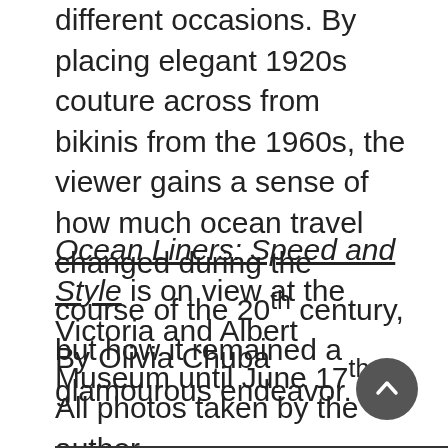different occasions. By placing elegant 1920s couture across from bikinis from the 1960s, the viewer gains a sense of how much ocean travel changed during the course of the 20th century, but how it remained a glamourous endeavor.
Ocean Liners: Speed and Style is on view at the Victoria and Albert Museum until June 17th.
By Olivia Chuba
All photos taken by the author